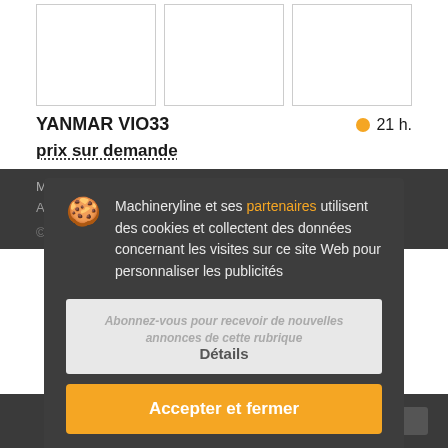[Figure (photo): Three placeholder image boxes in a row for a machinery listing]
YANMAR VIO33
21 h.
prix sur demande
Mini-pelle
Année: 2015  Kilométrage: 4710 m/h
© Portliga...
Machineryline et ses partenaires utilisent des cookies et collectent des données concernant les visites sur ce site Web pour personnaliser les publicités
Abonnez-vous pour recevoir de nouvelles annonces de cette rubrique
Détails
Accepter et fermer